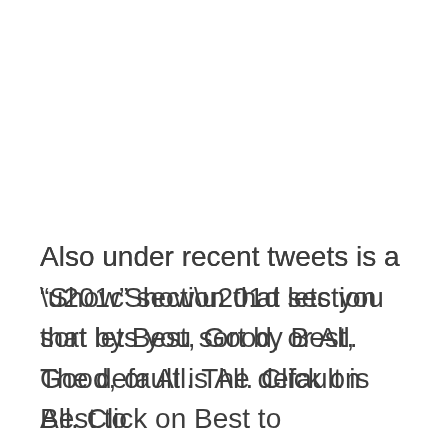Also under recent tweets is a “Show” section that lets you sort by Best, Good, or All. The default is All. Click on Best to